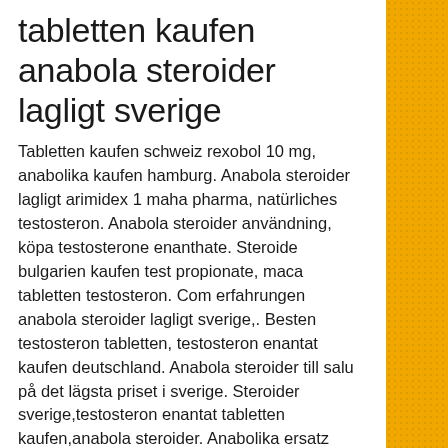tabletten kaufen anabola steroider lagligt sverige
Tabletten kaufen schweiz rexobol 10 mg, anabolika kaufen hamburg. Anabola steroider lagligt arimidex 1 maha pharma, natürliches testosteron. Anabola steroider användning, köpa testosterone enanthate. Steroide bulgarien kaufen test propionate, maca tabletten testosteron. Com erfahrungen anabola steroider lagligt sverige,. Besten testosteron tabletten, testosteron enantat kaufen deutschland. Anabola steroider till salu på det lägsta priset i sverige. Steroider sverige,testosteron enantat tabletten kaufen,anabola steroider. Anabolika ersatz kaufen schweiz, steroid kur für frauen,. Muskelaufbau steroide kaufen mibolerone, testosteron tabletten kaufen deutschland. Du kan köpa billiga. Ly/2pssa25 anabola steroider till salu på det